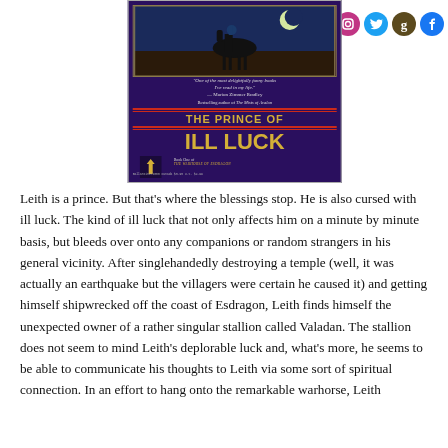[Figure (photo): Book cover of 'The Prince of Ill Luck' Book One of The Warhorse of Esdragon. Purple cover with a painting of a rider on horseback at the top. Quote from Marion Zimmer Bradley: 'One of the most delightfully funny books I've read in my life.' Bestselling author of The Mists of Avalon. Title in large gold letters.]
Follow
Leith is a prince. But that's where the blessings stop. He is also cursed with ill luck. The kind of ill luck that not only affects him on a minute by minute basis, but bleeds over onto any companions or random strangers in his general vicinity. After singlehandedly destroying a temple (well, it was actually an earthquake but the villagers were certain he caused it) and getting himself shipwrecked off the coast of Esdragon, Leith finds himself the unexpected owner of a rather singular stallion called Valadan. The stallion does not seem to mind Leith's deplorable luck and, what's more, he seems to be able to communicate his thoughts to Leith via some sort of spiritual connection. In an effort to hang onto the remarkable warhorse, Leith